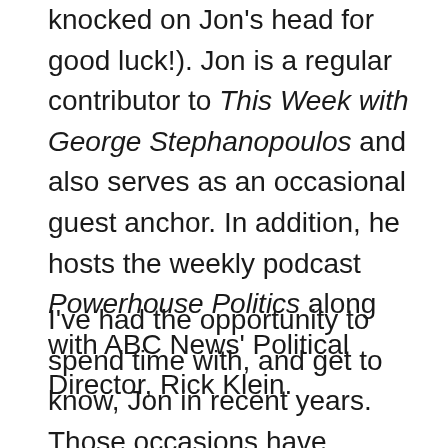knocked on Jon's head for good luck!). Jon is a regular contributor to This Week with George Stephanopoulos and also serves as an occasional guest anchor. In addition, he hosts the weekly podcast Powerhouse Politics along with ABC News' Political Director, Rick Klein.
I've had the opportunity to spend time with, and get to know, Jon in recent years. Those occasions have ranged from dinners in places from D.C. to Iowa, to meetings in New York and California. The pleasure of his company